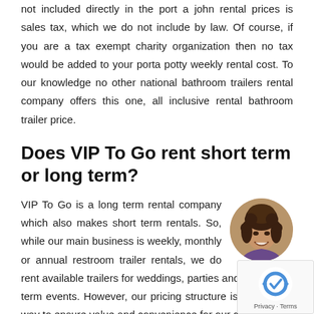not included directly in the port a john rental prices is sales tax, which we do not include by law. Of course, if you are a tax exempt charity organization then no tax would be added to your porta potty weekly rental cost. To our knowledge no other national bathroom trailers rental company offers this one, all inclusive rental bathroom trailer price.
Does VIP To Go rent short term or long term?
VIP To Go is a long term rental company which also makes short term rentals. So, while our main business is weekly, monthly or annual restroom trailer rentals, we do rent available trailers for weddings, parties and other short term events. However, our pricing structure is set up in a way to ensure value and convenience for our customers.
[Figure (photo): Circular avatar photo of a smiling woman with curly dark hair]
If you do a short term rental, say a wedding porta potty rental